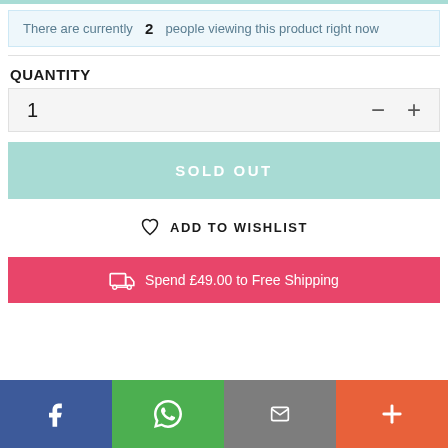There are currently 2 people viewing this product right now
QUANTITY
1
SOLD OUT
ADD TO WISHLIST
Spend £49.00 to Free Shipping